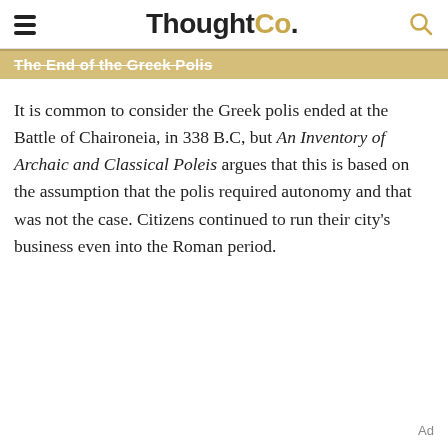ThoughtCo.
The End of the Greek Polis
It is common to consider the Greek polis ended at the Battle of Chaironeia, in 338 B.C, but An Inventory of Archaic and Classical Poleis argues that this is based on the assumption that the polis required autonomy and that was not the case. Citizens continued to run their city's business even into the Roman period.
Ad